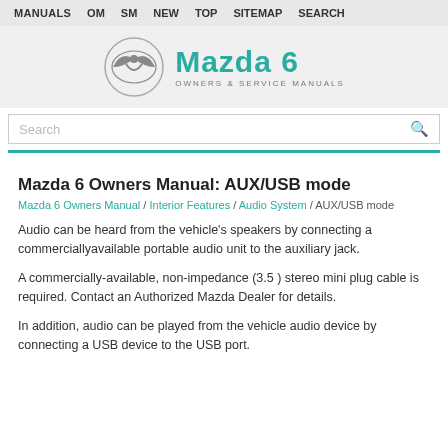MANUALS  OM  SM  NEW  TOP  SITEMAP  SEARCH
[Figure (logo): Mazda 6 Owners & Service Manuals logo with Mazda wing emblem]
Mazda 6 Owners Manual: AUX/USB mode
Mazda 6 Owners Manual / Interior Features / Audio System / AUX/USB mode
Audio can be heard from the vehicle's speakers by connecting a commerciallyavailable portable audio unit to the auxiliary jack.
A commercially-available, non-impedance (3.5 ) stereo mini plug cable is required. Contact an Authorized Mazda Dealer for details.
In addition, audio can be played from the vehicle audio device by connecting a USB device to the USB port.